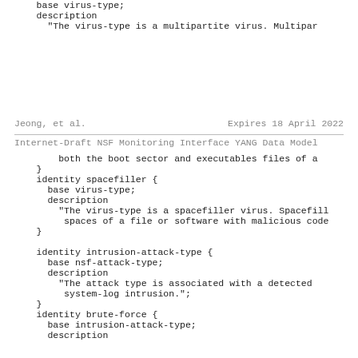base virus-type;
    description
      "The virus-type is a multipartite virus. Multipar
Jeong, et al.                Expires 18 April 2022
Internet-Draft   NSF Monitoring Interface YANG Data Model
both the boot sector and executables files of a
    }
    identity spacefiller {
      base virus-type;
      description
        "The virus-type is a spacefiller virus. Spacefill
         spaces of a file or software with malicious code
    }

    identity intrusion-attack-type {
      base nsf-attack-type;
      description
        "The attack type is associated with a detected
         system-log intrusion.";
    }
    identity brute-force {
      base intrusion-attack-type;
      description